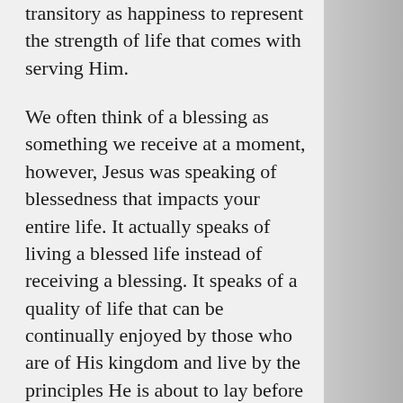transitory as happiness to represent the strength of life that comes with serving Him.
We often think of a blessing as something we receive at a moment, however, Jesus was speaking of blessedness that impacts your entire life. It actually speaks of living a blessed life instead of receiving a blessing. It speaks of a quality of life that can be continually enjoyed by those who are of His kingdom and live by the principles He is about to lay before them. Blessedness speaks of a fulfilled or satisfied life rather than just a happy life.
That's the reason the crowd would have a difficult time understanding li...